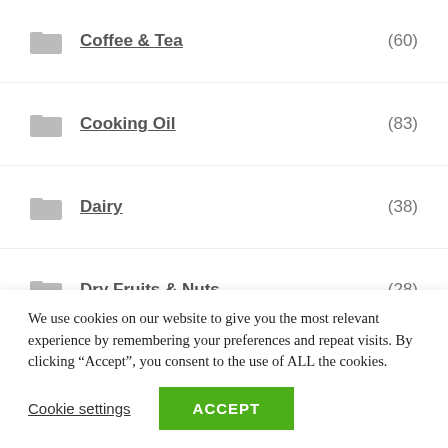Coffee & Tea (60)
Cooking Oil (83)
Dairy (38)
Dry Fruits & Nuts (28)
Essence/Coloring (30)
Flour (67)
Ghee (35)
Grocery/Provision (22)
We use cookies on our website to give you the most relevant experience by remembering your preferences and repeat visits. By clicking “Accept”, you consent to the use of ALL the cookies.
Cookie settings | ACCEPT